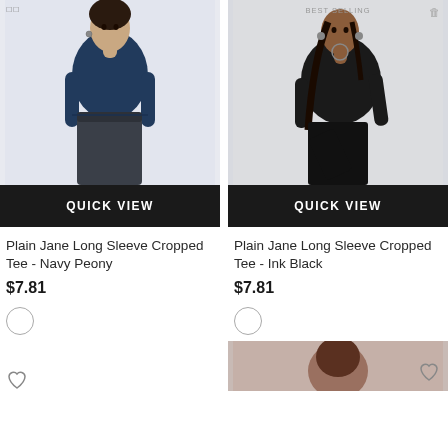[Figure (photo): Woman wearing navy blue long sleeve cropped tee with dark jogger pants, standing against light background]
[Figure (photo): Woman wearing black long sleeve cropped tee in athletic pose against white background, with BEST SELLING badge]
QUICK VIEW
QUICK VIEW
Plain Jane Long Sleeve Cropped Tee - Navy Peony
Plain Jane Long Sleeve Cropped Tee - Ink Black
$7.81
$7.81
[Figure (photo): Partial view of another product photo at bottom right]